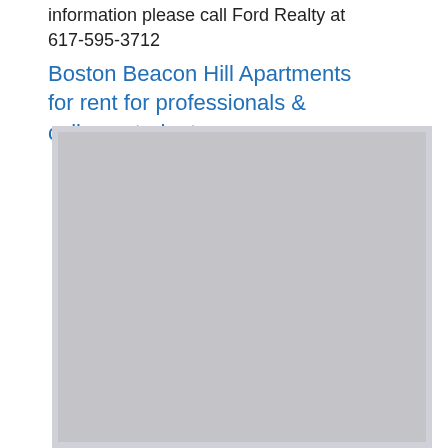information please call Ford Realty at 617-595-3712
Boston Beacon Hill Apartments for rent for professionals & college students
[Figure (photo): A photograph placeholder showing a gray rectangle representing an apartment image]